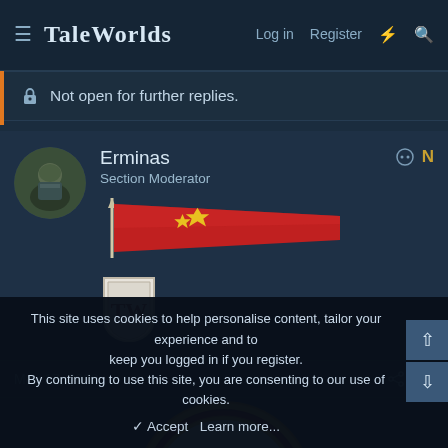TaleWorlds — Log in  Register
Not open for further replies.
Erminas
Section Moderator
[Figure (illustration): Red pennant/banner flag with a yellow star emblem, mounted on a lance tip, TaleWorlds forum flair]
[Figure (logo): TaleWorlds shield badge with TW initials]
May 17, 2022   #1
[Figure (illustration): Partial circular emblem/seal with gold border, text 'The' visible, sky background — forum post image partially cut off]
This site uses cookies to help personalise content, tailor your experience and to keep you logged in if you register.
By continuing to use this site, you are consenting to our use of cookies.
✓ Accept   Learn more...